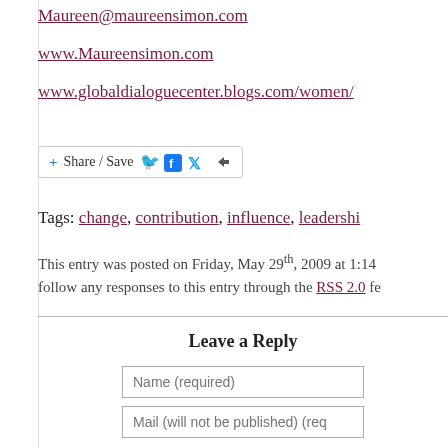Maureen@maureensimon.com
www.Maureensimon.com
www.globaldialoguecenter.blogs.com/women/
[Figure (other): Share / Save social sharing button with Facebook and Twitter icons]
Tags: change, contribution, influence, leadership
This entry was posted on Friday, May 29th, 2009 at 1:14 follow any responses to this entry through the RSS 2.0 fe
Leave a Reply
Name (required)
Mail (will not be published) (req